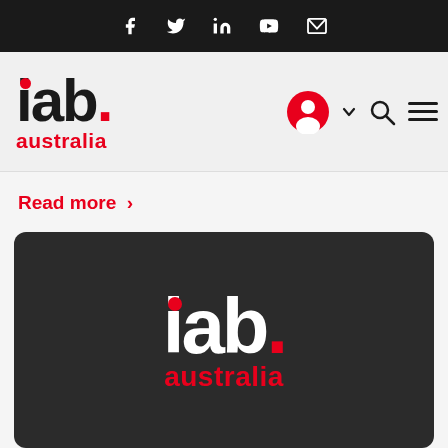Social bar with icons: Facebook, Twitter, LinkedIn, YouTube, Email
[Figure (logo): IAB Australia logo with red dot over i, red period, and red australia text below]
Read more >
[Figure (logo): IAB Australia logo on dark background: white iab. text with red dot over i and red period, red australia text below]